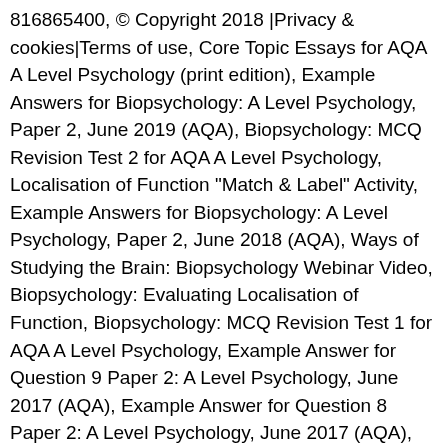816865400, © Copyright 2018 |Privacy & cookies|Terms of use, Core Topic Essays for AQA A Level Psychology (print edition), Example Answers for Biopsychology: A Level Psychology, Paper 2, June 2019 (AQA), Biopsychology: MCQ Revision Test 2 for AQA A Level Psychology, Localisation of Function "Match & Label" Activity, Example Answers for Biopsychology: A Level Psychology, Paper 2, June 2018 (AQA), Ways of Studying the Brain: Biopsychology Webinar Video, Biopsychology: Evaluating Localisation of Function, Biopsychology: MCQ Revision Test 1 for AQA A Level Psychology, Example Answer for Question 9 Paper 2: A Level Psychology, June 2017 (AQA), Example Answer for Question 8 Paper 2: A Level Psychology, June 2017 (AQA), Example Answer for Question 7 Paper 2: A Level Psychology, June 2017 (AQA), Example Answer for Question 6 Paper 2: A Level Psychology, June 2017 (AQA), Example Answer for Question 5 Paper 2: A Level Psychology, June 2017